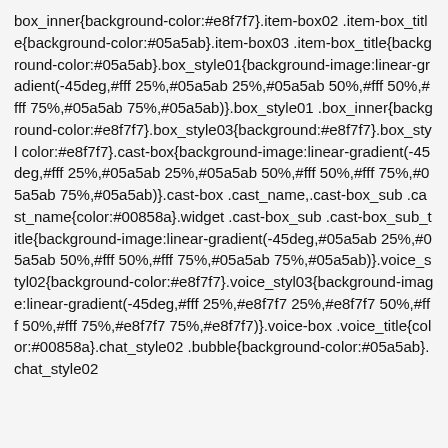box_inner{background-color:#e8f7f7}.item-box02 .item-box_title{background-color:#05a5ab}.item-box03 .item-box_title{background-color:#05a5ab}.box_style01{background-image:linear-gradient(-45deg,#fff 25%,#05a5ab 25%,#05a5ab 50%,#fff 50%,#fff 75%,#05a5ab 75%,#05a5ab)}.box_style01 .box_inner{background-color:#e8f7f7}.box_style03{background:#e8f7f7}.box_styl color:#e8f7f7}.cast-box{background-image:linear-gradient(-45deg,#fff 25%,#05a5ab 25%,#05a5ab 50%,#fff 50%,#fff 75%,#05a5ab 75%,#05a5ab)}.cast-box .cast_name,.cast-box_sub .cast_name{color:#00858a}.widget .cast-box_sub .cast-box_sub_title{background-image:linear-gradient(-45deg,#05a5ab 25%,#05a5ab 50%,#fff 50%,#fff 75%,#05a5ab 75%,#05a5ab)}.voice_styl02{background-color:#e8f7f7}.voice_styl03{background-image:linear-gradient(-45deg,#fff 25%,#e8f7f7 25%,#e8f7f7 50%,#fff 50%,#fff 75%,#e8f7f7 75%,#e8f7f7)}.voice-box .voice_title{color:#00858a}.chat_style02 .bubble{background-color:#05a5ab}.chat_style02